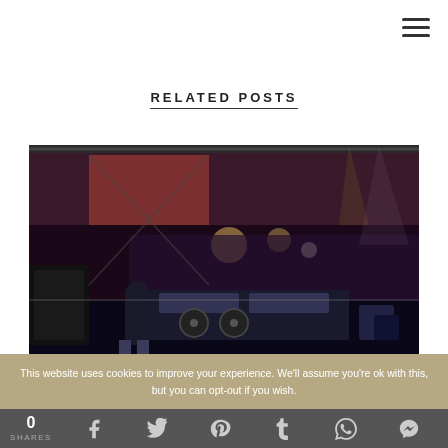RELATED POSTS
[Figure (photo): A DJ performing on stage with equipment and turntables, viewed from behind, facing a large crowd at an outdoor concert venue at night.]
This website uses cookies to improve your experience. We'll assume you're ok with this, but you can opt-out if you wish.
0 SHARES [Facebook] [Twitter] [Pinterest] [Tumblr] [WhatsApp] [Messenger]